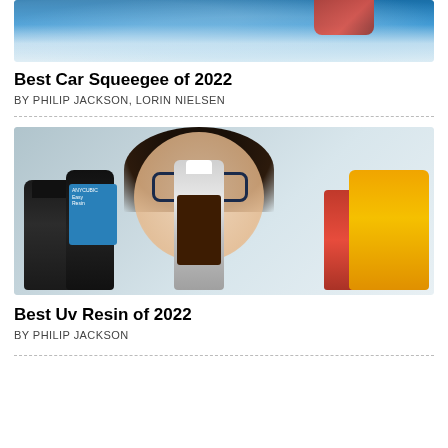[Figure (photo): Cropped photo of a car squeegee being used on a wet surface, partial view showing red handle and blue/wet background]
Best Car Squeegee of 2022
BY PHILIP JACKSON, LORIN NIELSEN
[Figure (photo): Photo of a woman with dark hair and glasses holding UV resin bottles, with 3D printers visible on the right side]
Best Uv Resin of 2022
BY PHILIP JACKSON